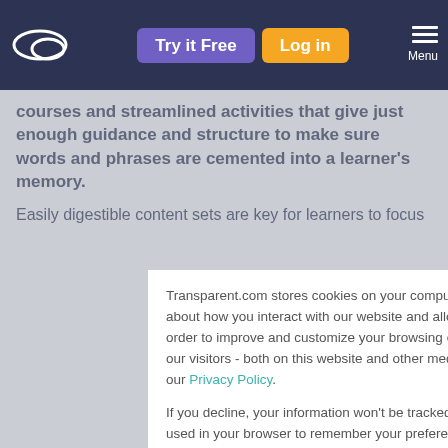Try it Free | Log in | Menu
courses and streamlined activities that give just enough guidance and structure to make sure words and phrases are cemented into a learner's memory.
Easily digestible content sets are key for learners to focus
Transparent.com stores cookies on your computer. These cookies are used to collect information about how you interact with our website and allow us to remember you. We use this information in order to improve and customize your browsing experience, as well as for analytics and metrics about our visitors - both on this website and other media. To find out more about the cookies we use, see our Privacy Policy.

If you decline, your information won't be tracked when you visit this website. A single cookie will be used in your browser to remember your preference not to be tracked.
Accept | Decline